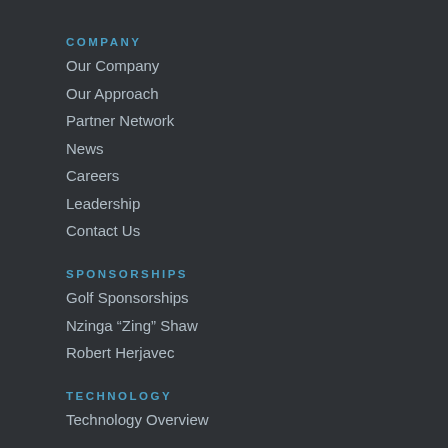COMPANY
Our Company
Our Approach
Partner Network
News
Careers
Leadership
Contact Us
SPONSORSHIPS
Golf Sponsorships
Nzinga “Zing” Shaw
Robert Herjavec
TECHNOLOGY
Technology Overview